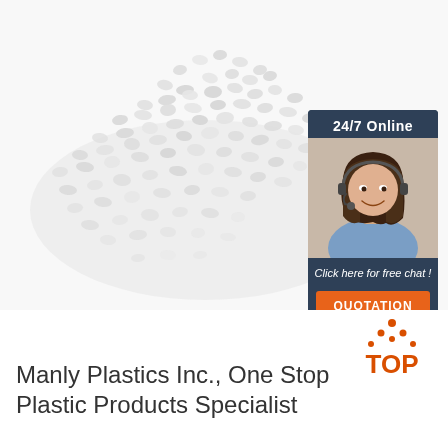[Figure (photo): Pile of clear/white plastic pellets or granules on white background, with a 24/7 online chat widget overlay in the top-right showing a female customer service representative wearing a headset, with 'Click here for free chat!' text and an orange QUOTATION button]
[Figure (logo): TOP logo in orange-red with dotted triangle above the letters TOP]
Manly Plastics Inc., One Stop Plastic Products Specialist